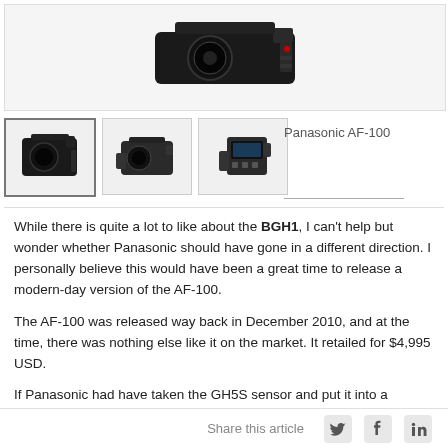[Figure (photo): Main product photo of camera (Canon/Panasonic cinema camera) on light gray background]
[Figure (photo): Three thumbnail images of camera from different angles]
Panasonic AF-100
While there is quite a lot to like about the BGH1, I can't help but wonder whether Panasonic should have gone in a different direction. I personally believe this would have been a great time to release a modern-day version of the AF-100.
The AF-100 was released way back in December 2010, and at the time, there was nothing else like it on the market. It retailed for $4,995 USD.
If Panasonic had have taken the GH5S sensor and put it into a
Share this article